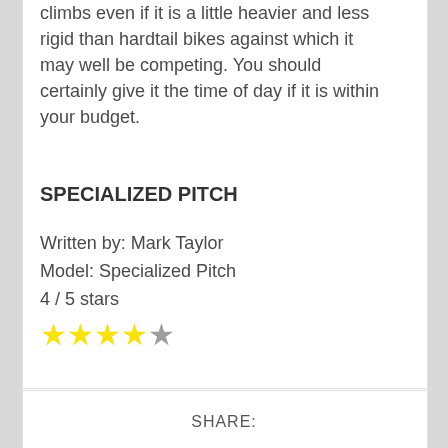climbs even if it is a little heavier and less rigid than hardtail bikes against which it may well be competing. You should certainly give it the time of day if it is within your budget.
SPECIALIZED PITCH
Written by: Mark Taylor
Model: Specialized Pitch
4 / 5 stars
[Figure (other): Star rating: 4 out of 5 yellow stars followed by 1 gray star]
SHARE: